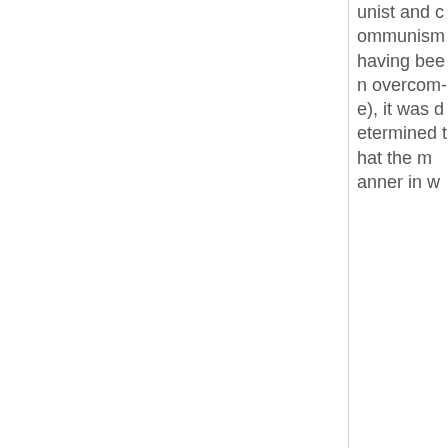unist and communism having been overcome), it was determined that the manner in w